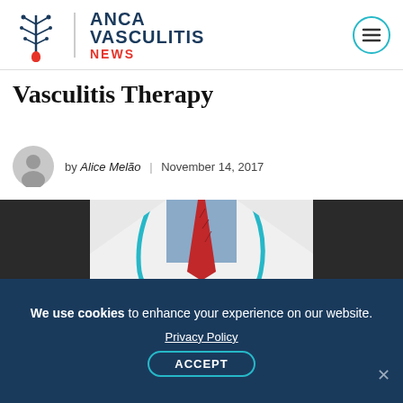ANCA VASCULITIS NEWS
Vasculitis Therapy
by Alice Melão | November 14, 2017
[Figure (photo): Doctor in white coat holding a tablet, with stethoscope around neck, red striped tie, dark background]
We use cookies to enhance your experience on our website. Privacy Policy ACCEPT